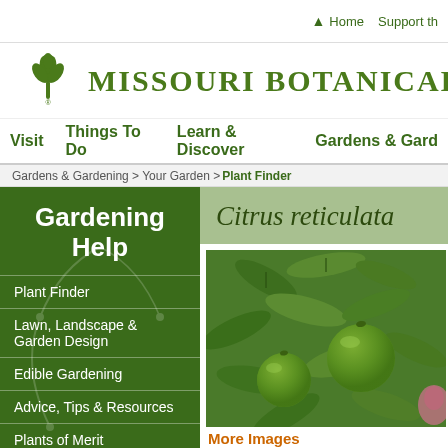Home  Support th
[Figure (logo): Missouri Botanical Garden logo with stylized plant icon]
Missouri Botanical G
Visit  Things To Do  Learn & Discover  Gardens & Gard
Gardens & Gardening > Your Garden > Plant Finder
Gardening Help
Plant Finder
Lawn, Landscape & Garden Design
Edible Gardening
Advice, Tips & Resources
Plants of Merit
Sustainable Gardening
Gardening Education & Classes
Citrus reticulata
[Figure (photo): Photo of Citrus reticulata (mandarin orange) plant with green fruits and leaves]
More Images